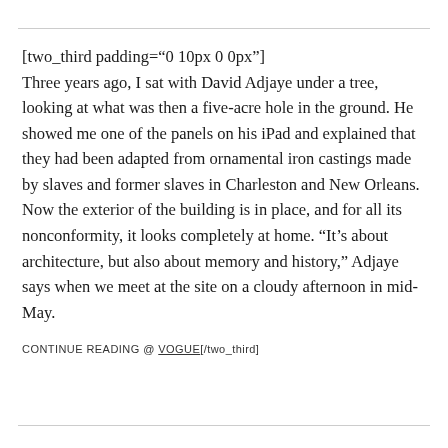[two_third padding="0 10px 0 0px"] Three years ago, I sat with David Adjaye under a tree, looking at what was then a five-acre hole in the ground. He showed me one of the panels on his iPad and explained that they had been adapted from ornamental iron castings made by slaves and former slaves in Charleston and New Orleans. Now the exterior of the building is in place, and for all its nonconformity, it looks completely at home. “It’s about architecture, but also about memory and history,” Adjaye says when we meet at the site on a cloudy afternoon in mid-May.
CONTINUE READING @ VOGUE[/two_third]